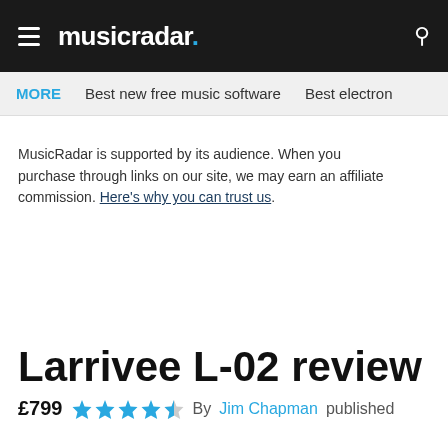musicradar.
MORE   Best new free music software   Best electron
MusicRadar is supported by its audience. When you purchase through links on our site, we may earn an affiliate commission. Here's why you can trust us.
Larrivee L-02 review
£799  ★★★★½  By Jim Chapman published